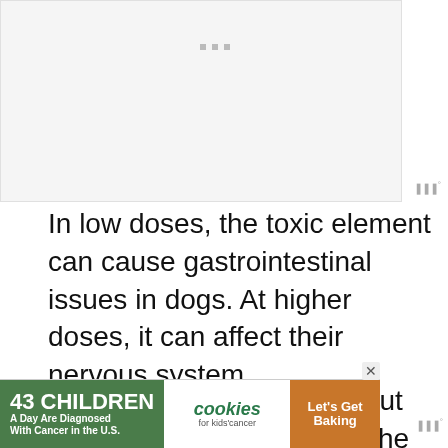[Figure (other): Gray placeholder box for an image at the top of the page]
In low doses, the toxic element can cause gastrointestinal issues in dogs. At higher doses, it can affect their nervous system.
Symptoms of horse chestnut poisoning in dogs include the following:
[Figure (other): Advertisement banner: '43 CHILDREN A Day Are Diagnosed With Cancer in the U.S.' with cookies for kids' cancer logo and 'Let's Get Baking' text on brown background]